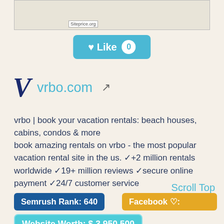[Figure (screenshot): Screenshot thumbnail with siteprice.org watermark]
[Figure (other): Like button with heart icon and count 0]
vrbo.com (with VRBO logo and external link icon)
vrbo | book your vacation rentals: beach houses, cabins, condos & more
book amazing rentals on vrbo - the most popular vacation rental site in the us. ✓+2 million rentals worldwide ✓ 19+ million reviews ✓secure online payment ✓ 24/7 customer service
Scroll Top
Semrush Rank: 640
Facebook ♡:
Website Worth: $ 3,950,500
Categories: Recreation/Travel, Regional,
Regional/North America, Travel, Travel